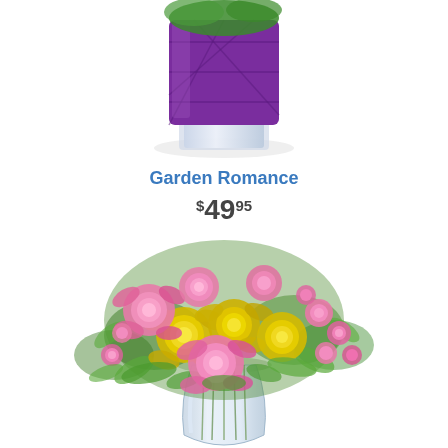[Figure (photo): Purple square glass vase with floral arrangement, partially cropped at top of page]
Garden Romance
$49.95
[Figure (photo): Bouquet of pink and yellow roses with greenery in a clear glass vase]